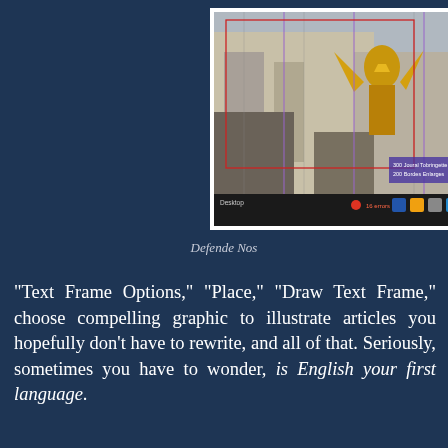[Figure (screenshot): Screenshot of a desktop image editing software (likely InDesign) showing a photograph of a golden angel statue on a gothic building facade. The image has purple/violet column guide lines overlaid and a red bounding box. A small overlay box in the lower right shows text. The taskbar at the bottom shows application icons including a red circle close button and colorful app icons.]
Defende Nos
"Text Frame Options," "Place," "Draw Text Frame," choose compelling graphic to illustrate articles you hopefully don't have to rewrite, and all of that. Seriously, sometimes you have to wonder, is English your first language.